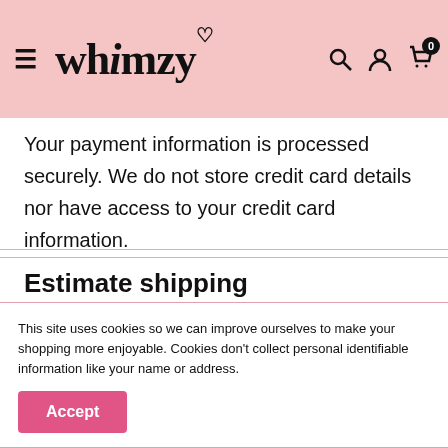Whimzy
Your payment information is processed securely. We do not store credit card details nor have access to your credit card information.
Estimate shipping
Country
This site uses cookies so we can improve ourselves to make your shopping more enjoyable. Cookies don't collect personal identifiable information like your name or address.